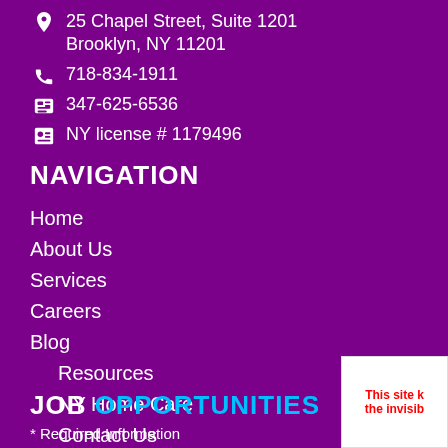25 Chapel Street, Suite 1201 Brooklyn, NY 11201
718-834-1911
347-625-6536
NY license # 1179496
NAVIGATION
Home
About Us
Services
Careers
Blog
Resources
NY Home Care
Contact Us
JOB OPPORTUNITIES
* Required Information
This site k the invisib